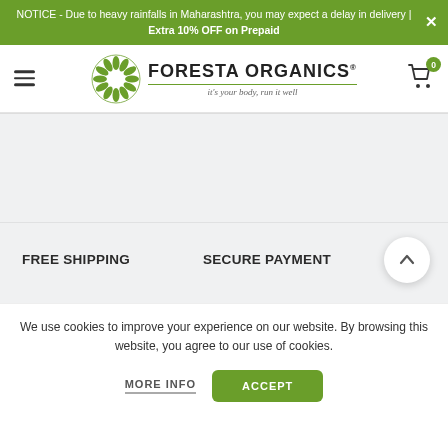NOTICE - Due to heavy rainfalls in Maharashtra, you may expect a delay in delivery | Extra 10% OFF on Prepaid
[Figure (logo): Foresta Organics logo with leaf/circle icon and tagline 'it's your body, run it well']
FREE SHIPPING
SECURE PAYMENT
We use cookies to improve your experience on our website. By browsing this website, you agree to our use of cookies.
MORE INFO
ACCEPT